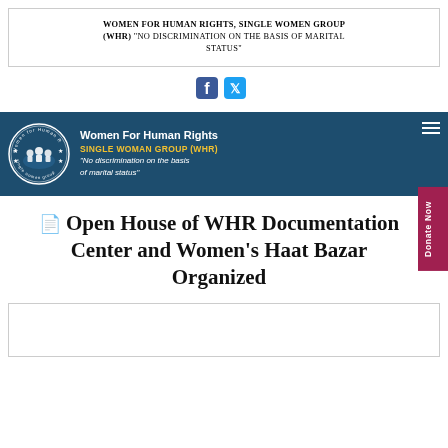WOMEN FOR HUMAN RIGHTS, SINGLE WOMEN GROUP (WHR) "NO DISCRIMINATION ON THE BASIS OF MARITAL STATUS"
[Figure (logo): Facebook and Twitter social media icons]
[Figure (logo): Women For Human Rights website navigation banner with circular logo, organization name, tagline in yellow 'SINGLE WOMAN GROUP (WHR)', quote in italic white 'No discrimination on the basis of marital status', hamburger menu icon on right]
Open House of WHR Documentation Center and Women's Haat Bazar Organized
[Figure (photo): Empty white box / image placeholder at the bottom of the page]